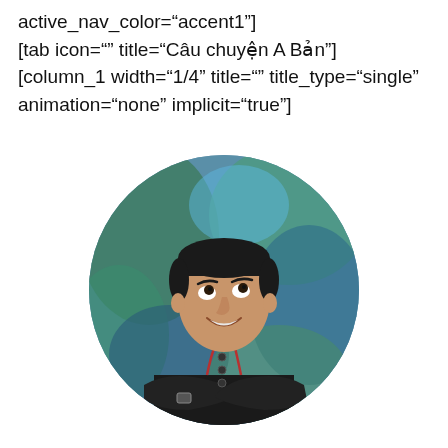active_nav_color="accent1"]
[tab icon="" title="Câu chuyện A Bản"]
[column_1 width="1/4" title="" title_type="single" animation="none" implicit="true"]
[Figure (photo): A circular cropped photo of a smiling Asian man wearing a black chef's jacket with red trim, arms crossed, looking upward to the right, with a colorful mural background in blues and greens.]